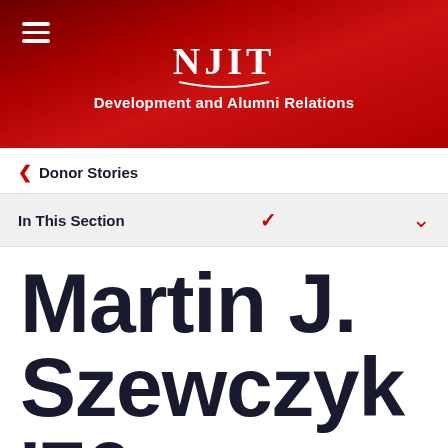NJIT Development and Alumni Relations
Donor Stories
In This Section
Martin J. Szewczyk '76